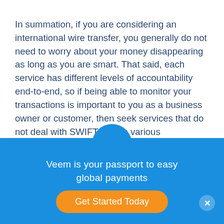In summation, if you are considering an international wire transfer, you generally do not need to worry about your money disappearing as long as you are smart. That said, each service has different levels of accountability end-to-end, so if being able to monitor your transactions is important to you as a business owner or customer, then seek services that do not deal with SWIFT and its various regulations. When considering different methods of wire transfer or alternative solutions, keep in mind fees, transfer rates and time. There is a service that will work perfectly for you and help you get your money from A to B safely.
[Figure (infographic): Blue promotional banner with semicircle tab at top, containing text 'Veem is your passport to easy global payments' and an orange 'Get Started Today' button, with a close (X) button in the bottom right corner.]